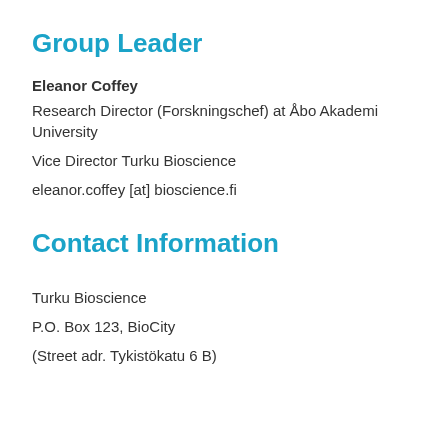Group Leader
Eleanor Coffey
Research Director (Forskningschef) at Åbo Akademi University
Vice Director Turku Bioscience
eleanor.coffey [at] bioscience.fi
Contact Information
Turku Bioscience
P.O. Box 123, BioCity
(Street adr. Tykistökatu 6 B)